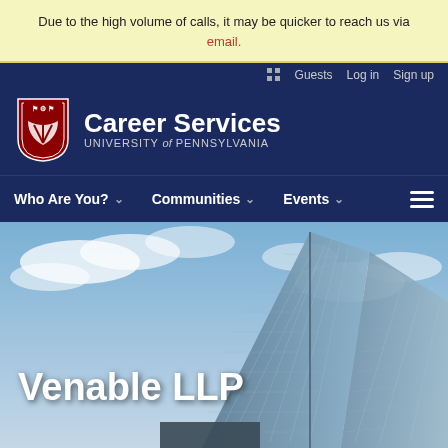Due to the high volume of calls, it may be quicker to reach us via email.
Guests  Log in  Sign up
Career Services — University of Pennsylvania
Who Are You?  Communities  Events
[Figure (photo): Looking up at a modern glass skyscraper against a partly cloudy blue sky, with the text 'Venable LLP' overlaid in bold white on the lower left.]